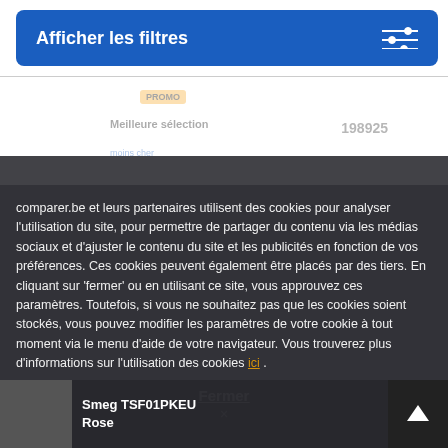[Figure (screenshot): Blue filter button with slider icon labeled 'Afficher les filtres']
comparer.be et leurs partenaires utilisent des cookies pour analyser l'utilisation du site, pour permettre de partager du contenu via les médias sociaux et d'ajuster le contenu du site et les publicités en fonction de vos préférences. Ces cookies peuvent également être placés par des tiers. En cliquant sur 'fermer' ou en utilisant ce site, vous approuvez ces paramètres. Toutefois, si vous ne souhaitez pas que les cookies soient stockés, vous pouvez modifier les paramètres de votre cookie à tout moment via le menu d'aide de votre navigateur. Vous trouverez plus d'informations sur l'utilisation des cookies ici .
Fermer
×
Smeg TSF01PKEU Rose